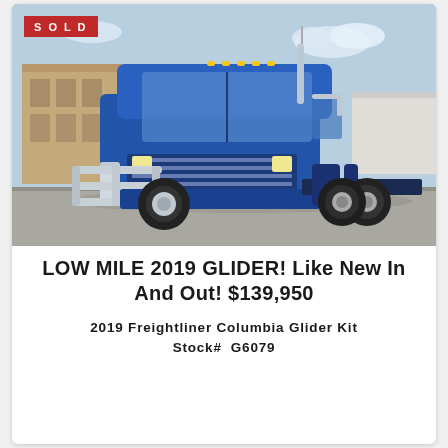[Figure (photo): Blue 2019 Freightliner Columbia Glider Kit semi truck parked in a lot, front 3/4 view, with chrome bull bar and chrome accents, with a red SOLD badge in the upper left corner]
LOW MILE 2019 GLIDER! Like New In And Out! $139,950
2019 Freightliner Columbia Glider Kit
Stock# G6079